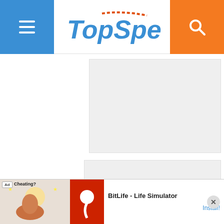TopSpeed - navigation header with menu and search buttons
[Figure (other): Gray placeholder advertisement block 1]
[Figure (other): Gray placeholder advertisement block 2]
[Figure (other): Bottom banner ad: BitLife - Life Simulator with Install button and close button]